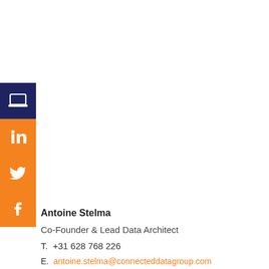[Figure (illustration): Vertical stack of four social media/contact icon squares on the left side: top is dark navy with a laptop icon, below are three orange squares with LinkedIn 'in', Twitter bird, and Facebook 'f' icons]
Antoine Stelma
Co-Founder & Lead Data Architect
T.  +31 628 768 226
E.  antoine.stelma@connecteddatagroup.com